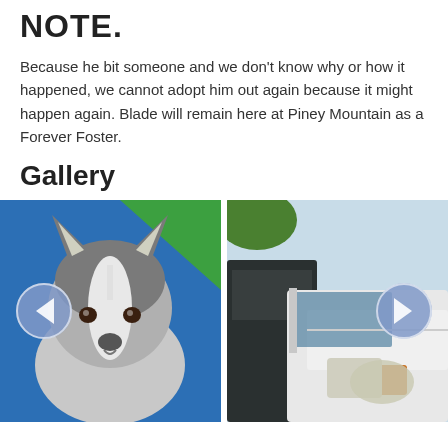NOTE.
Because he bit someone and we don't know why or how it happened, we cannot adopt him out again because it might happen again. Blade will remain here at Piney Mountain as a Forever Foster.
Gallery
[Figure (photo): A Husky/Malamute dog sitting in front of a blue wall with green corner, looking at the camera. Navigation arrows (left and right) overlaid on the image.]
[Figure (photo): A white truck/SUV parked next to a dark van outdoors. Navigation arrow (right) overlaid on the image.]